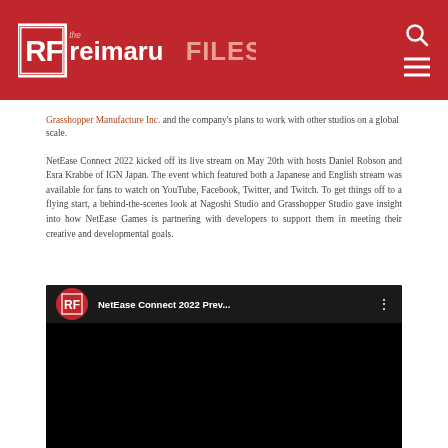The Reimaru Files
Grasshopper Manufacture Inc. and the company's plans to work with other studios on a global scale.
NetEase Connect 2022 kicked off its live stream on May 20th with hosts Daniel Robson and Esra Krabbe of IGN Japan. The event which featured both a Japanese and English stream was available for fans to watch on YouTube, Facebook, Twitter, and Twitch. To get things off to a flying start, a behind-the-scenes look at Nagoshi Studio and Grasshopper Studio gave insight into how NetEase Games is partnering with developers to support them in meeting their creative and developmental goals.
[Figure (screenshot): Embedded YouTube video thumbnail showing 'NetEase Connect 2022 Prev...' with the Reimaru Files logo icon on a dark background.]